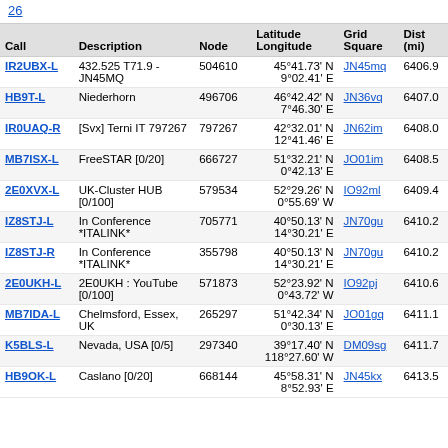26
| Call | Description | Node | Latitude Longitude | Grid Square | Dist (mi) |
| --- | --- | --- | --- | --- | --- |
| IR2UBX-L | 432.525 T71.9 - JN45MQ | 504610 | 45°41.73' N 9°02.41' E | JN45mq | 6406.9 |
| HB9T-L | Niederhorn | 496706 | 46°42.42' N 7°46.30' E | JN36vq | 6407.0 |
| IR0UAQ-R | [Svx] Terni IT 797267 | 797267 | 42°32.01' N 12°41.46' E | JN62im | 6408.0 |
| MB7ISX-L | FreeSTAR [0/20] | 666727 | 51°32.21' N 0°42.13' E | JO01im | 6408.5 |
| 2E0XVX-L | UK-Cluster HUB [0/100] | 579534 | 52°29.26' N 0°55.69' W | IO92ml | 6409.4 |
| IZ8STJ-L | In Conference *ITALINK* | 705771 | 40°50.13' N 14°30.21' E | JN70gu | 6410.2 |
| IZ8STJ-R | In Conference *ITALINK* | 355798 | 40°50.13' N 14°30.21' E | JN70gu | 6410.2 |
| 2E0UKH-L | 2E0UKH : YouTube [0/100] | 571873 | 52°23.92' N 0°43.72' W | IO92pj | 6410.6 |
| MB7IDA-L | Chelmsford, Essex, UK | 265297 | 51°42.34' N 0°30.13' E | JO01gq | 6411.1 |
| K5BLS-L | Nevada, USA [0/5] | 297340 | 39°17.40' N 118°27.60' W | DM09sg | 6411.7 |
| HB9OK-L | Caslano [0/20] | 668144 | 45°58.31' N 8°52.93' E | JN45kx | 6413.5 |